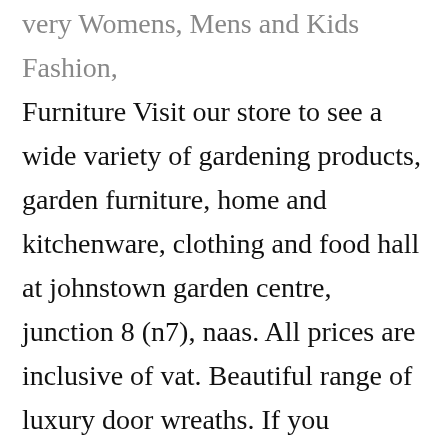very Womens, Mens and Kids Fashion, Furniture Visit our store to see a wide variety of gardening products, garden furniture, home and kitchenware, clothing and food hall at johnstown garden centre, junction 8 (n7), naas. All prices are inclusive of vat. Beautiful range of luxury door wreaths. If you purchase a christmas tree online, we make a donation per tree to the irish osteoporosis society charity. Get up to 40% off selected christmas garlands and wreaths.
[Figure (other): Close/cancel button icon — black filled circle with white X inside]